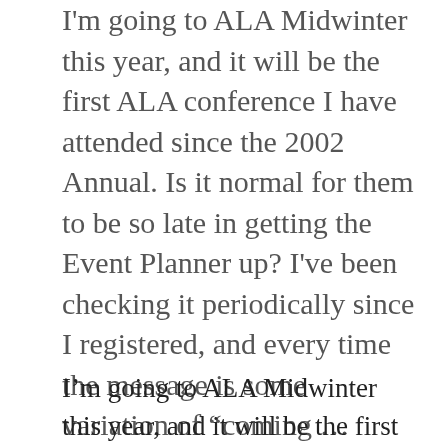I'm going to ALA Midwinter this year, and it will be the first ALA conference I have attended since the 2002 Annual. Is it normal for them to be so late in getting the Event Planner up? I've been checking it periodically since I registered, and every time the message is some variation of “coming …
Continue reading
I’m going to ALA Midwinter this year, and it will be the first ALA conference I have attended since the 2002 Annual. Is it normal for them to be so late in getting the Event Planner up? I’ve been checking it periodically since I registered, and every time the message is some variation of “coming soon.” At the moment, it says, “We